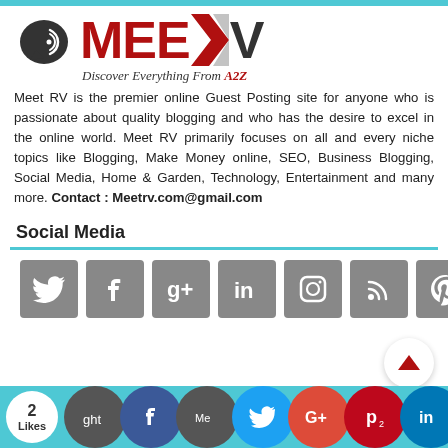[Figure (logo): MeetRV logo with chat bubble icon and tagline 'Discover Everything From A2Z']
Meet RV is the premier online Guest Posting site for anyone who is passionate about quality blogging and who has the desire to excel in the online world. Meet RV primarily focuses on all and every niche topics like Blogging, Make Money online, SEO, Business Blogging, Social Media, Home & Garden, Technology, Entertainment and many more. Contact : Meetrv.com@gmail.com
Social Media
[Figure (infographic): Row of 7 grey social media icon buttons: Twitter, Facebook, Google+, LinkedIn, Instagram, RSS, Pinterest]